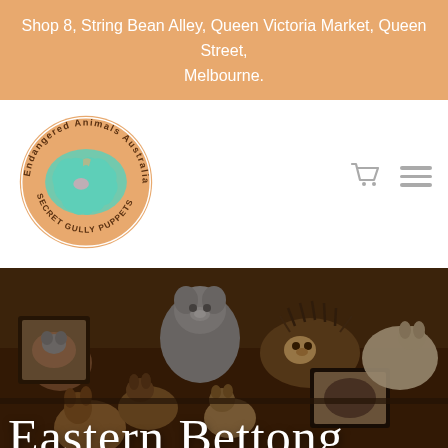Shop 8, String Bean Alley, Queen Victoria Market, Queen Street, Melbourne.
[Figure (logo): Circular logo for Endangered Animals Australia / Secret Gully Puppets, featuring a teal map of Australia on an orange background with a small pink heart, surrounded by the text 'Endangered Animals Australia' and 'Secret Gully Puppets']
[Figure (photo): A collection of handcrafted animal puppets and plush toys displayed together, including koalas, an echidna, small marsupials, and other Australian animals, arranged in a warm-toned shop setting]
Eastern Bettong